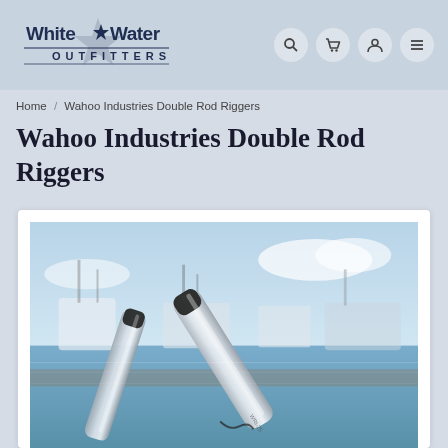White Water Outfitters — navigation header with logo and icons
Home / Wahoo Industries Double Rod Riggers
Wahoo Industries Double Rod Riggers
[Figure (photo): Photo of Wahoo Industries Double Rod Riggers — two stainless steel rod holders/rigger tubes crossed, with a marina and boats in the blurred background]